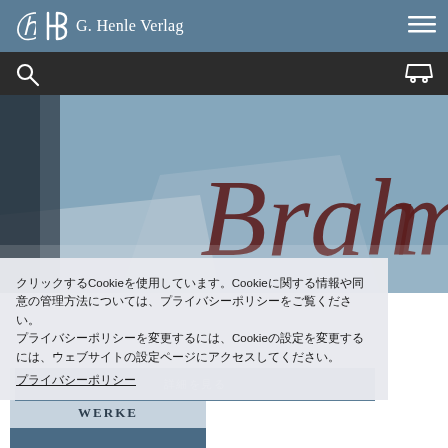G. Henle Verlag
[Figure (screenshot): G. Henle Verlag website screenshot showing navigation header with logo and hamburger menu, search bar, hero image of a Brahms music score book cover in blue-grey tones, a cookie notice overlay with Japanese text, and a partial book panel showing Joseph Haydn Werke publication]
ここでは Cookie を使用しています。Cookie に関する情報や同意の管理方法については、プライバシーポリシーをご覧ください。Cookie の設定を変更するには、ウェブサイトの設定ページにアクセスしてください。
プライバシーポリシー